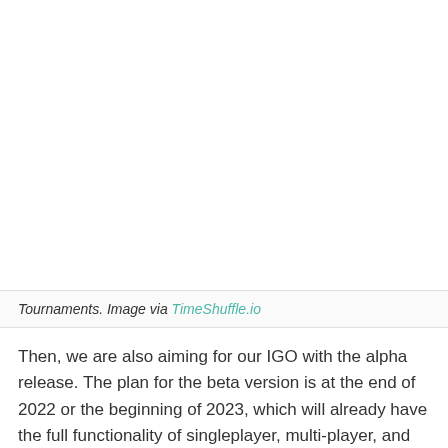[Figure (photo): Image placeholder — top portion of page showing a tournament-related image (blank/white in this view)]
Tournaments. Image via TimeShuffle.io
Then, we are also aiming for our IGO with the alpha release. The plan for the beta version is at the end of 2022 or the beginning of 2023, which will already have the full functionality of singleplayer, multi-player, and